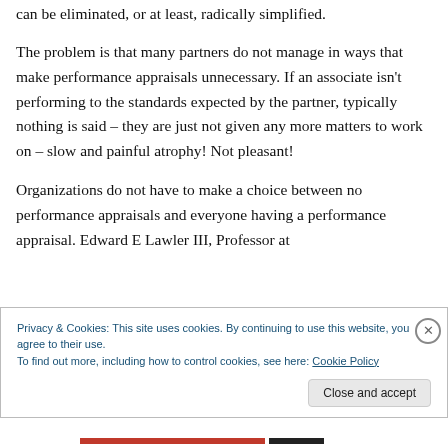can be eliminated, or at least, radically simplified.
The problem is that many partners do not manage in ways that make performance appraisals unnecessary. If an associate isn't performing to the standards expected by the partner, typically nothing is said – they are just not given any more matters to work on – slow and painful atrophy! Not pleasant!
Organizations do not have to make a choice between no performance appraisals and everyone having a performance appraisal. Edward E Lawler III, Professor at
Privacy & Cookies: This site uses cookies. By continuing to use this website, you agree to their use.
To find out more, including how to control cookies, see here: Cookie Policy